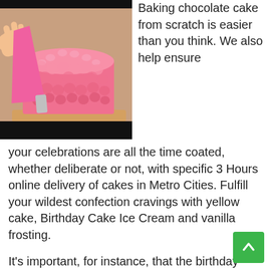[Figure (photo): Person using a pink piping bag to decorate a pink frosted round cake on a wooden board]
Baking chocolate cake from scratch is easier than you think. We also help ensure your celebrations are all the time coated, whether deliberate or not, with specific 3 Hours online delivery of cakes in Metro Cities. Fulfill your wildest confection cravings with yellow cake, Birthday Cake Ice Cream and vanilla frosting.
It's important, for instance, that the birthday cake comes out properly to make sure a protracted and joyful life forward. Since years, we are spreading happiness within the lives of everyone